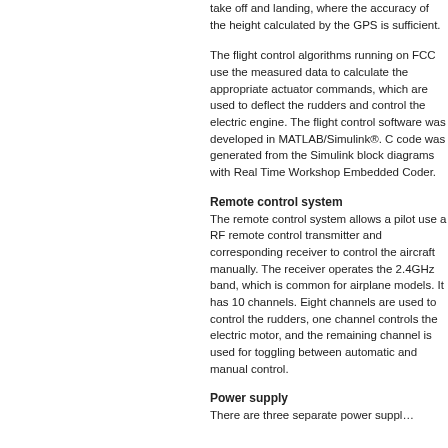take off and landing, where the accuracy of the height calculated by the GPS is sufficient.
The flight control algorithms running on FCC use the measured data to calculate the appropriate actuator commands, which are used to deflect the rudders and control the electric engine. The flight control software was developed in MATLAB/Simulink®. C code was generated from the Simulink block diagrams with Real Time Workshop Embedded Coder.
Remote control system
The remote control system allows a pilot use a RF remote control transmitter and corresponding receiver to control the aircraft manually. The receiver operates the 2.4GHz band, which is common for airplane models. It has 10 channels. Eight channels are used to control the rudders, one channel controls the electric motor, and the remaining channel is used for toggling between automatic and manual control.
Power supply
There are three separate power supplies